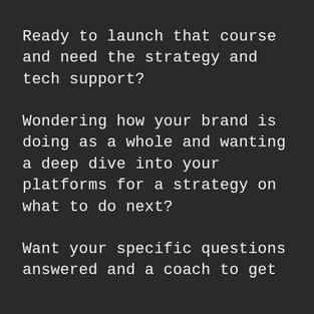Ready to launch that course and need the strategy and tech support?
Wondering how your brand is doing as a whole and wanting a deep dive into your platforms for a strategy on what to do next?
Want your specific questions answered and a coach to get